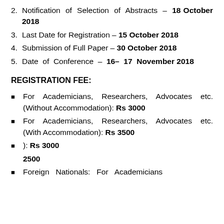2. Notification of Selection of Abstracts – 18 October 2018
3. Last Date for Registration – 15 October 2018
4. Submission of Full Paper – 30 October 2018
5. Date of Conference – 16– 17 November 2018
REGISTRATION FEE:
For Academicians, Researchers, Advocates etc. (Without Accommodation): Rs 3000
For Academicians, Researchers, Advocates etc. (With Accommodation): Rs 3500
(truncated) : Rs 3000
(truncated) (With Accommodation) 2500
Foreign Nationals: For Academicians...